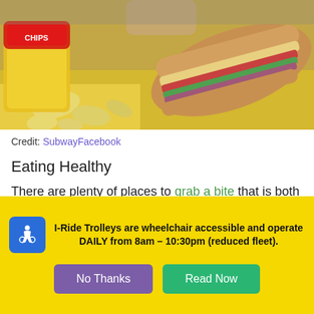[Figure (photo): Photo of a Subway sandwich with chips spilled from a bag on a yellow and white patterned surface, with a hand visible in the background]
Credit: SubwayFacebook
Eating Healthy
There are plenty of places to grab a bite that is both delicious and nutritious on I-Drive.
I-Ride Trolleys are wheelchair accessible and operate DAILY from 8am – 10:30pm (reduced fleet).